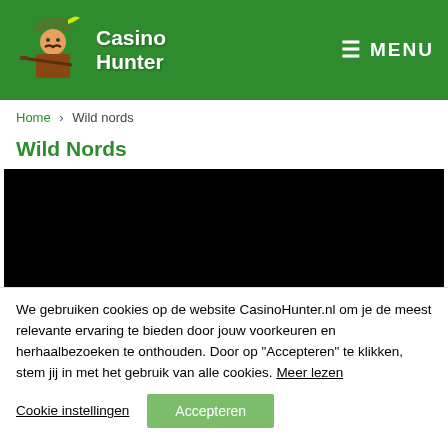Casino Hunter | MENU
Home > Wild nords
Wild Nords
[Figure (photo): Black rectangular image area, content not visible]
We gebruiken cookies op de website CasinoHunter.nl om je de meest relevante ervaring te bieden door jouw voorkeuren en herhaalbezoeken te onthouden. Door op "Accepteren" te klikken, stem jij in met het gebruik van alle cookies. Meer lezen
Cookie instellingen | Accepteren